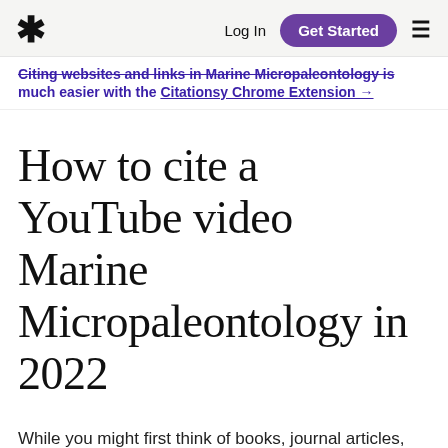* Log In Get Started ≡
Citing websites and links in Marine Micropaleontology is much easier with the Citationsy Chrome Extension →
How to cite a YouTube video Marine Micropaleontology in 2022
While you might first think of books, journal articles, and news websites as go-to